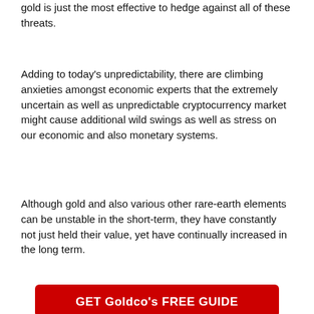gold is just the most effective to hedge against all of these threats.
Adding to today's unpredictability, there are climbing anxieties amongst economic experts that the extremely uncertain as well as unpredictable cryptocurrency market might cause additional wild swings as well as stress on our economic and also monetary systems.
Although gold and also various other rare-earth elements can be unstable in the short-term, they have constantly not just held their value, yet have continually increased in the long term.
GET Goldco's FREE GUIDE